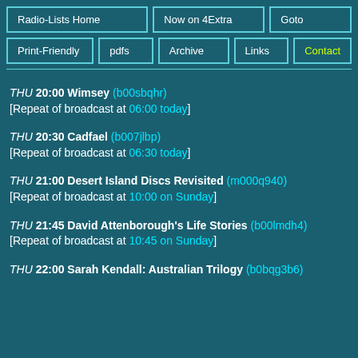Radio-Lists Home | Now on 4Extra | Goto | Print-Friendly | pdfs | Archive | Links | Contact
THU 20:00 Wimsey (b00sbqhr) [Repeat of broadcast at 06:00 today]
THU 20:30 Cadfael (b007jlbp) [Repeat of broadcast at 06:30 today]
THU 21:00 Desert Island Discs Revisited (m000q940) [Repeat of broadcast at 10:00 on Sunday]
THU 21:45 David Attenborough's Life Stories (b00lmdh4) [Repeat of broadcast at 10:45 on Sunday]
THU 22:00 Sarah Kendall: Australian Trilogy (b0bqg3b6)